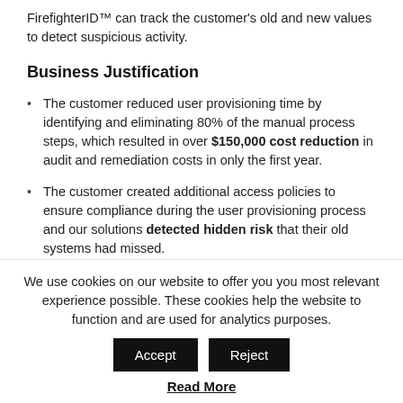FirefighterID™ can track the customer's old and new values to detect suspicious activity.
Business Justification
The customer reduced user provisioning time by identifying and eliminating 80% of the manual process steps, which resulted in over $150,000 cost reduction in audit and remediation costs in only the first year.
The customer created additional access policies to ensure compliance during the user provisioning process and our solutions detected hidden risk that their old systems had missed.
The customer lowered their ERP total cost of
We use cookies on our website to offer you you most relevant experience possible. These cookies help the website to function and are used for analytics purposes.
Read More